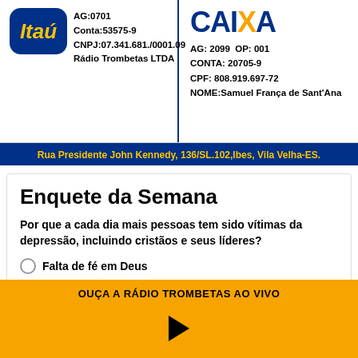[Figure (logo): Itaú bank logo — blue rounded square with yellow italic 'Itaú' text]
AG:0701
Conta:53575-9
CNPJ:07.341.681./0001.09
Rádio Trombetas LTDA
[Figure (logo): Caixa Econômica Federal logo — CAIXA in blue and orange bold text]
AG: 2099  OP: 001
CONTA: 20705-9
CPF: 808.919.697-72
NOME:Samuel França de Sant'Ana
Rua Presidente John Kennedy, 136/SL.102,Ibes, Vila Velha-ES.
Enquete da Semana
Por que a cada dia mais pessoas tem sido vítimas da depressão, incluindo cristãos e seus líderes?
Falta de fé em Deus
OUÇA A RÁDIO TROMBETAS AO VIVO